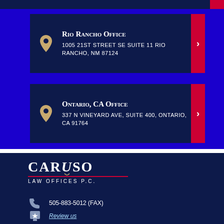Rio Rancho Office
1005 21ST STREET SE SUITE 11 RIO RANCHO, NM 87124
Ontario, CA Office
337 N VINEYARD AVE, SUITE 400, ONTARIO, CA 91764
[Figure (logo): Caruso Law Offices P.C. logo with stylized text and red underline]
505-883-5012 (FAX)
Review us